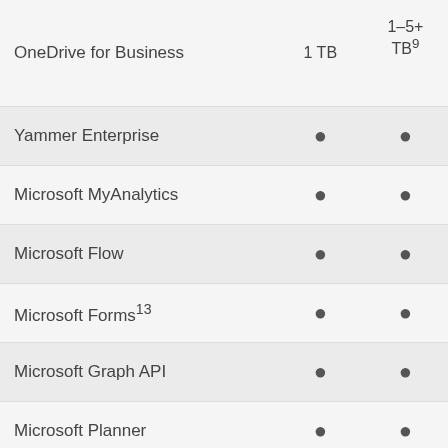| Feature | Col2 | Col3 |
| --- | --- | --- |
| OneDrive for Business | 1 TB | 1–5+ TB⁹ |
| Yammer Enterprise | ● | ● |
| Microsoft MyAnalytics | ● | ● |
| Microsoft Flow | ● | ● |
| Microsoft Forms¹³ | ● | ● |
| Microsoft Graph API | ● | ● |
| Microsoft Planner | ● | ● |
| Microsoft PowerApps¹⁴ | ● | ● |